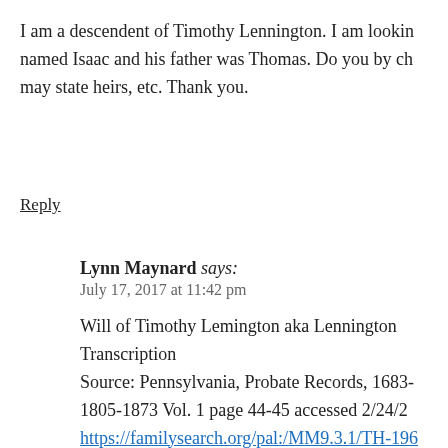I am a descendent of Timothy Lennington. I am looking named Isaac and his father was Thomas. Do you by cha may state heirs, etc. Thank you.
Reply
Lynn Maynard says:
July 17, 2017 at 11:42 pm
Will of Timothy Lemington aka Lennington Transcription Source: Pennsylvania, Probate Records, 1683- 1805-1873 Vol. 1 page 44-45 accessed 2/24/20 https://familysearch.org/pal:/MM9.3.1/TH-196 cc=1999196&wc=9PM6-RMQ:268497101,26 Citing this Record:Copy Citation "Pennsylvania, Probate Records, 1683-1994," (https://familysearch.org/pal:/MM9.3.1/TH-19 cc=1999196&wc=9PM6-RMQ:268497101,26